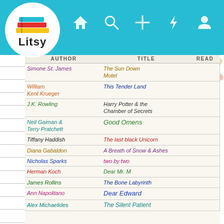[Figure (screenshot): Litsy app screenshot showing a reading log notebook with Author, Title, Read columns filled in handwritten colorful text. The Litsy logo and navigation bar are at the top.]
| AUTHOR | TITLE | READ |
| --- | --- | --- |
| Simone St. James | The Sun Down Motel |  |
| William Kent Krueger | This Tender Land |  |
| J.K. Rowling | Harry Potter & the Chamber of Secrets |  |
| Neil Gaiman & Terry Pratchett | Good Omens |  |
| Tiffany Haddish | The Last Black Unicorn |  |
| Diana Gabaldon | A Breath of Snow and Ashes |  |
| Nicholas Sparks | Two by Two |  |
| Herman Koch | Dear Mr. M |  |
| James Rollins | The Bone Labyrinth |  |
| Ann Napolitano | Dear Edward |  |
| Alex Michaelides | The Silent Patient |  |